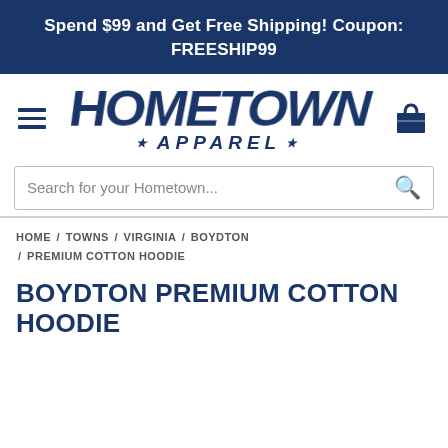Spend $99 and Get Free Shipping! Coupon: FREESHIP99
[Figure (logo): Hometown Apparel logo with hamburger menu icon on left and shopping cart icon on right]
Search for your Hometown...
HOME / TOWNS / VIRGINIA / BOYDTON / PREMIUM COTTON HOODIE
BOYDTON PREMIUM COTTON HOODIE